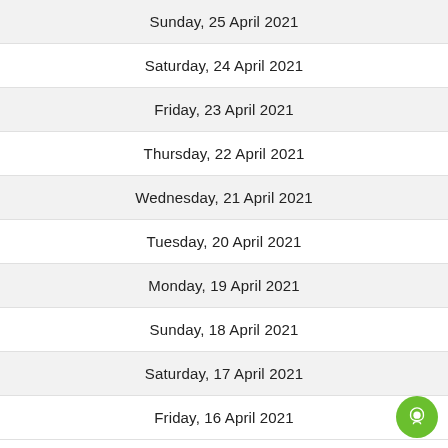Sunday, 25 April 2021
Saturday, 24 April 2021
Friday, 23 April 2021
Thursday, 22 April 2021
Wednesday, 21 April 2021
Tuesday, 20 April 2021
Monday, 19 April 2021
Sunday, 18 April 2021
Saturday, 17 April 2021
Friday, 16 April 2021